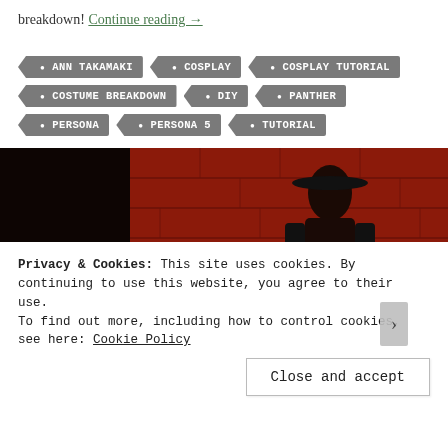breakdown! Continue reading →
ANN TAKAMAKI
COSPLAY
COSPLAY TUTORIAL
COSTUME BREAKDOWN
DIY
PANTHER
PERSONA
PERSONA 5
TUTORIAL
[Figure (photo): Cosplay photo of a character in dark costume with hat, standing against a red brick wall background]
Privacy & Cookies: This site uses cookies. By continuing to use this website, you agree to their use. To find out more, including how to control cookies, see here: Cookie Policy
Close and accept